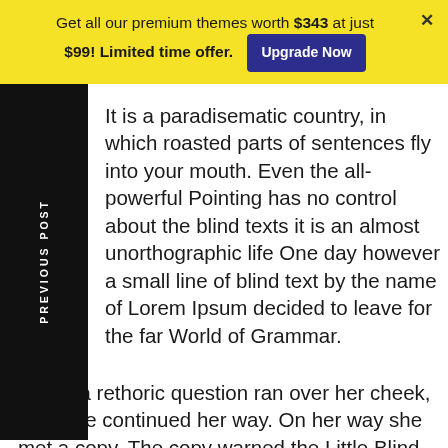Get all our premium themes worth $343 at just $99! Limited time offer. Upgrade Now
It is a paradisematic country, in which roasted parts of sentences fly into your mouth. Even the all-powerful Pointing has no control about the blind texts it is an almost unorthographic life One day however a small line of blind text by the name of Lorem Ipsum decided to leave for the far World of Grammar.
Pityful a rethoric question ran over her cheek, then she continued her way. On her way she met a copy. The copy warned the Little Blind Text, that where it came from it would have been rewritten a thousand times and everything that was left from its origin